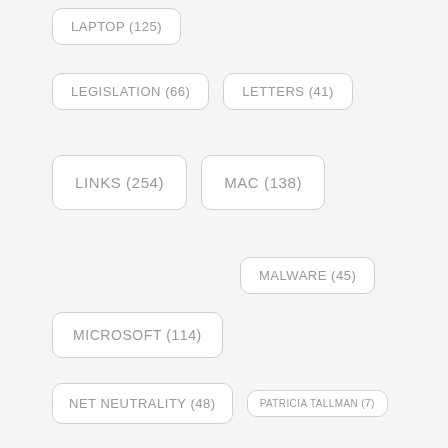LAPTOP (125)
LEGISLATION (66)
LETTERS (41)
LINKS (254)
MAC (138)
MALWARE (45)
MICROSOFT (114)
NET NEUTRALITY (48)
PATRICIA TALLMAN (7)